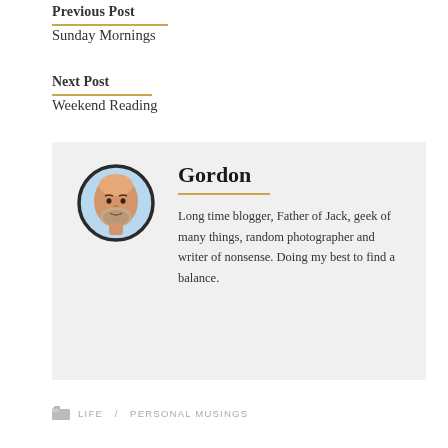Previous Post
Sunday Mornings
Next Post
Weekend Reading
[Figure (illustration): Circular avatar image of a bald man with a beard, illustrated in emoji style on a light blue background]
Gordon
Long time blogger, Father of Jack, geek of many things, random photographer and writer of nonsense. Doing my best to find a balance.
LIFE   PERSONAL MUSINGS